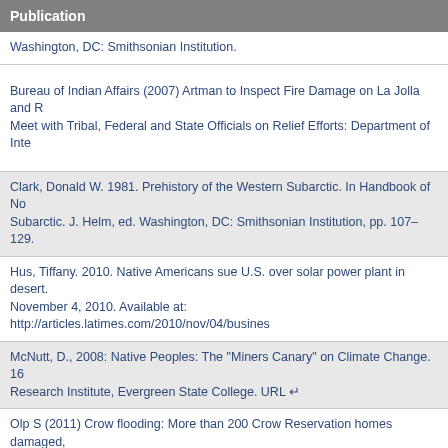| Publication |
| --- |
| Washington, DC: Smithsonian Institution. |
| Bureau of Indian Affairs (2007) Artman to Inspect Fire Damage on La Jolla and R Meet with Tribal, Federal and State Officials on Relief Efforts: Department of Inte |
| Clark, Donald W. 1981. Prehistory of the Western Subarctic. In Handbook of No Subarctic. J. Helm, ed. Washington, DC: Smithsonian Institution, pp. 107–129. |
| Hus, Tiffany. 2010. Native Americans sue U.S. over solar power plant in desert. November 4, 2010. Available at: http://articles.latimes.com/2010/nov/04/busines |
| McNutt, D., 2008: Native Peoples: The "Miners Canary" on Climate Change. 16 Research Institute, Evergreen State College. URL ↵ |
| Olp S (2011) Crow flooding: More than 200 Crow Reservation homes damaged, Billings Gazette. June 15, 2011. Billings, MT |
| Ubelaker, Douglas H., ed. 2006. Handbook of North American Indians. Vol. 3. E PopulationWashington, DC: Smithsonian Institution, pp. 222–235. |
| Upagiaqtavut. Setting the Course. Climate Change Impacts and Adaptation in N Government of Nunavut. |
| Landsberg, B. K., 2003: Major Acts of Congress. Includes Indian General Allotm |